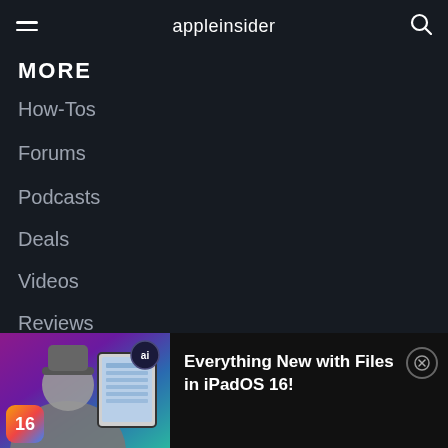appleinsider
MORE
How-Tos
Forums
Podcasts
Deals
Videos
Reviews
Contact Us
Advertise on AI
[Figure (screenshot): Video thumbnail showing a person holding an iPad with the Files app in iPadOS 16, with iOS 16 badge and ai logo overlay]
Everything New with Files in iPadOS 16!